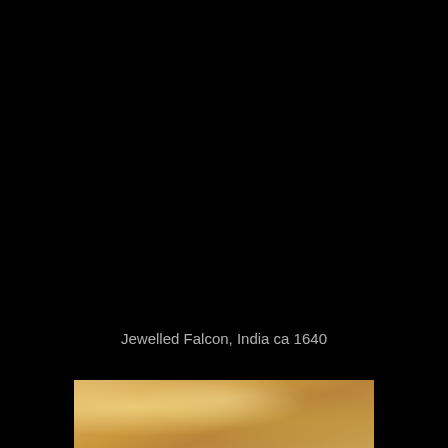Jewelled Falcon, India ca 1640
[Figure (photo): Bottom strip showing a golden/yellow textured surface, likely the base or detail of a jewelled falcon artifact from India circa 1640. The image shows a warm golden tone with subtle texture and light reflections.]